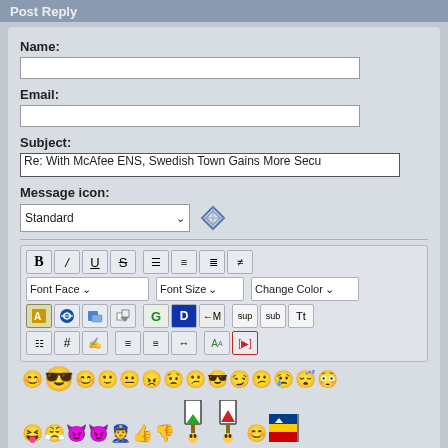Post Reply
Name:
Email:
Subject:
Re: With McAfee ENS, Swedish Town Gains More Secu
Message icon:
Standard
[Figure (screenshot): Post reply form with toolbar, emoji row, and quote text box showing '[quote author=Pez']
[quote author=Pez